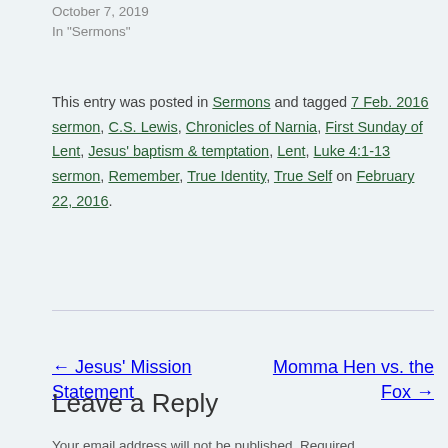October 7, 2019
In "Sermons"
This entry was posted in Sermons and tagged 7 Feb. 2016 sermon, C.S. Lewis, Chronicles of Narnia, First Sunday of Lent, Jesus' baptism & temptation, Lent, Luke 4:1-13 sermon, Remember, True Identity, True Self on February 22, 2016.
← Jesus' Mission Statement
Momma Hen vs. the Fox →
Leave a Reply
Your email address will not be published. Required